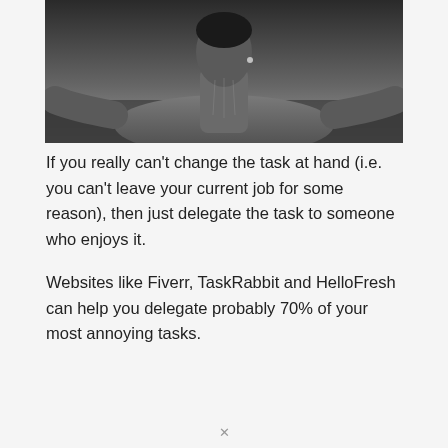[Figure (photo): Black and white photograph of a person wearing a cable-knit sweater, arms outstretched, with a blurred outdoor background.]
If you really can't change the task at hand (i.e. you can't leave your current job for some reason), then just delegate the task to someone who enjoys it.
Websites like Fiverr, TaskRabbit and HelloFresh can help you delegate probably 70% of your most annoying tasks.